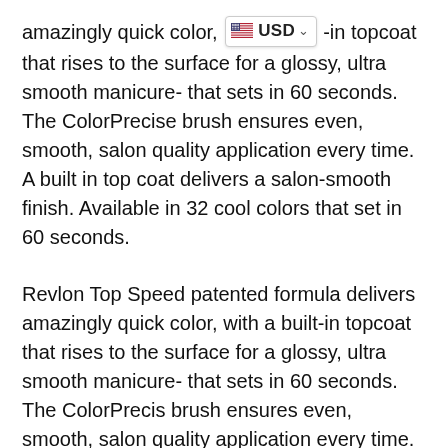amazingly quick color, [USD badge] -in topcoat that rises to the surface for a glossy, ultra smooth manicure- that sets in 60 seconds. The ColorPrecise brush ensures even, smooth, salon quality application every time. A built in top coat delivers a salon-smooth finish. Available in 32 cool colors that set in 60 seconds.
Revlon Top Speed patented formula delivers amazingly quick color, with a built-in topcoat that rises to the surface for a glossy, ultra smooth manicure- that sets in 60 seconds. The ColorPrecis brush ensures even, smooth, salon quality application every time.
Made in USA
Product page description incomplete (cut off at bottom)